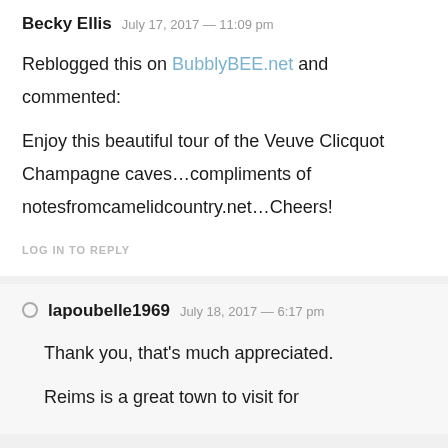Becky Ellis  July 17, 2017 — 11:09 pm
Reblogged this on BubblyBEE.net and commented:
Enjoy this beautiful tour of the Veuve Clicquot Champagne caves…compliments of notesfromcamelidcountry.net…Cheers!
LOG IN TO REPLY
lapoubelle1969  July 18, 2017 — 6:17 pm
Thank you, that's much appreciated.
Reims is a great town to visit for